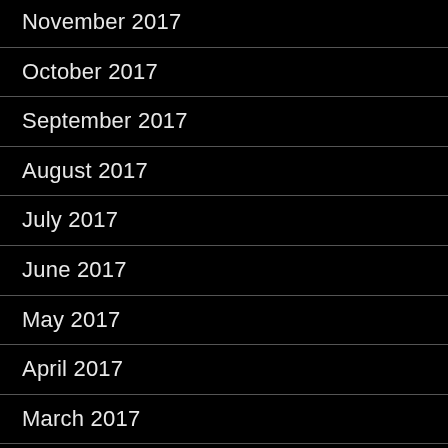November 2017
October 2017
September 2017
August 2017
July 2017
June 2017
May 2017
April 2017
March 2017
February 2017
January 2017
November 2016
October 2016